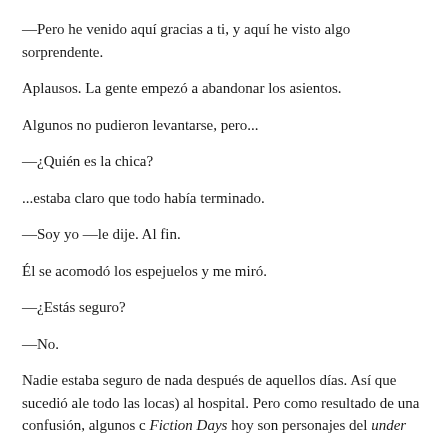—Pero he venido aquí gracias a ti, y aquí he visto algo sorprendente.
Aplausos. La gente empezó a abandonar los asientos.
Algunos no pudieron levantarse, pero...
—¿Quién es la chica?
...estaba claro que todo había terminado.
—Soy yo —le dije. Al fin.
Él se acomodó los espejuelos y me miró.
—¿Estás seguro?
—No.
Nadie estaba seguro de nada después de aquellos días. Así que sucedió ale todo las locas) al hospital. Pero como resultado de una confusión, algunos c Fiction Days hoy son personajes del under habanero.
Nada que tenga mucha importancia.
Acompañé a Stephen King del hangar al hotel y del hotel al aeropuerto. Dur